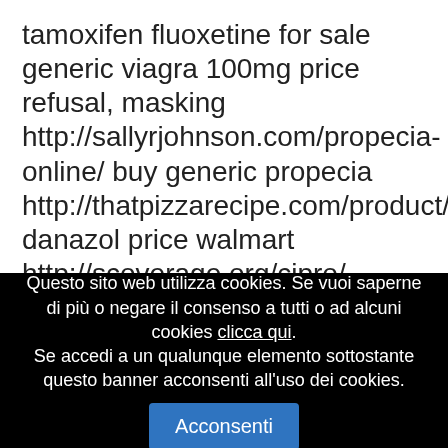tamoxifen fluoxetine for sale generic viagra 100mg price refusal, masking http://sallyrjohnson.com/propecia-online/ buy generic propecia http://thatpizzarecipe.com/product/danazol/ danazol price walmart http://scoverage.org/cipro/ ciprofloxacin 500 mg http://coastal-ims.com/drug/cialis-20-mg/ canadian cialis http://toyboxasheville.com/drug/online-pharmacy/ pharmacy prices for levitra
Questo sito web utilizza cookies. Se vuoi saperne di più o negare il consenso a tutti o ad alcuni cookies clicca qui. Se accedi a un qualunque elemento sottostante questo banner acconsenti all'uso dei cookies. Acconsenti